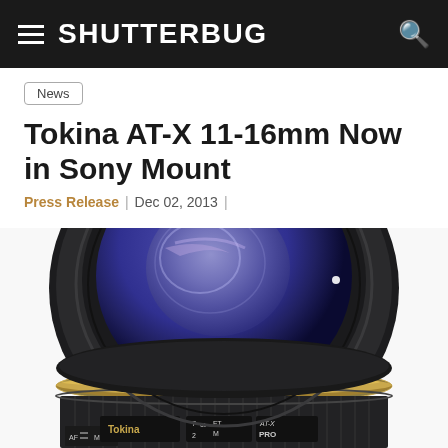SHUTTERBUG
News
Tokina AT-X 11-16mm Now in Sony Mount
Press Release | Dec 02, 2013 |
[Figure (photo): Close-up front view of a Tokina AT-X wide-angle camera lens showing the lens elements, focus ring with textured grip, gold accent ring, and label reading Tokina 7/2 ∞ AF PRO AT-X]